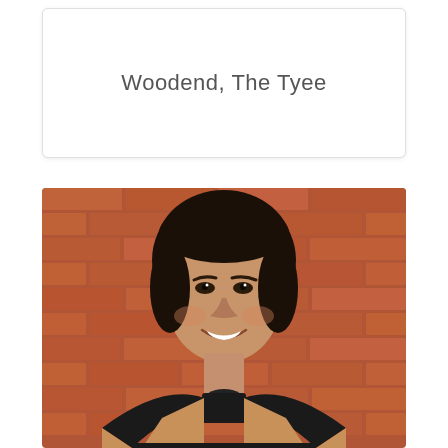Woodend, The Tyee
[Figure (photo): Portrait photo of a woman with dark hair pulled back, smiling, wearing a black turtleneck and tan/camel vest, standing in front of a red brick wall.]